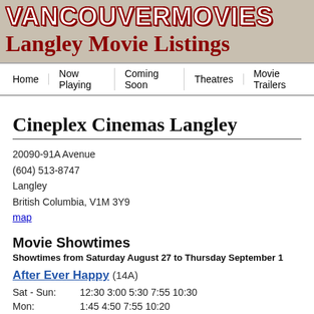VANCOUVERMOVIES
Langley Movie Listings
Home | Now Playing | Coming Soon | Theatres | Movie Trailers
Cineplex Cinemas Langley
20090-91A Avenue
(604) 513-8747
Langley
British Columbia, V1M 3Y9
map
Movie Showtimes
Showtimes from Saturday August 27 to Thursday September 1
After Ever Happy (14A)
| Day | Times |
| --- | --- |
| Sat - Sun: | 12:30 3:00 5:30 7:55 10:30 |
| Mon: | 1:45 4:50 7:55 10:20 |
| Tue: | 1:45 4:50 7:55 10:30 |
| Wed - Thu: | 1:45 4:50 7:55 10:20 |